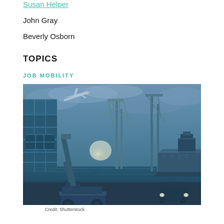Susan Helper
John Gray
Beverly Osborn
TOPICS
JOB MOBILITY
[Figure (photo): Industrial port scene with a cargo ship, shipping containers stacked on the left, large cranes, a forklift/loader vehicle in the foreground, a small truck with headlights on, and an airplane flying overhead. The image has a blue/teal tonal filter. Dramatic clouds in the background with a bright light source near the center-left.]
Credit: Shutterstock